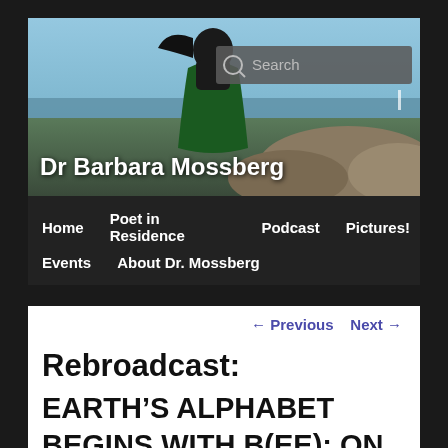[Figure (photo): Header photo of a woman with long dark hair wrapped in a green shawl, standing outdoors near rocky coastline with blue sky and water in background. A search box is overlaid in the upper right.]
Dr Barbara Mossberg
Home   Poet in Residence   Podcast   Pictures!   Events   About Dr. Mossberg
← Previous   Next →
Rebroadcast:

EARTH’S ALPHABET BEGINS WITH B(EE): ON